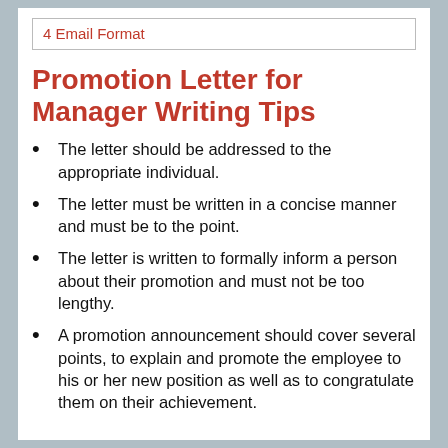4 Email Format
Promotion Letter for Manager Writing Tips
The letter should be addressed to the appropriate individual.
The letter must be written in a concise manner and must be to the point.
The letter is written to formally inform a person about their promotion and must not be too lengthy.
A promotion announcement should cover several points, to explain and promote the employee to his or her new position as well as to congratulate them on their achievement.